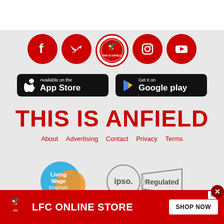[Figure (logo): Five social media circular icons: Facebook, Twitter, This Is Anfield (Liver bird), Instagram, YouTube - all in red]
[Figure (logo): App Store and Google Play download buttons]
THIS IS ANFIELD
About   Advertising   Contact   Privacy   Terms
[Figure (logo): Living Wage Employer badge with overlapping blue and yellow-orange circles]
[Figure (logo): IPSO Regulated badge with banner design]
We're a Living Wage Employer.
We're a member of IPSO.
[Figure (logo): LFC Online Store advertisement banner with shop now button]